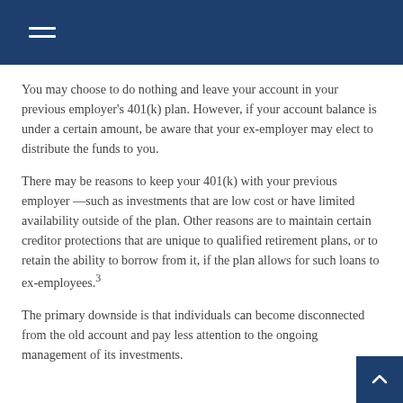You may choose to do nothing and leave your account in your previous employer’s 401(k) plan. However, if your account balance is under a certain amount, be aware that your ex-employer may elect to distribute the funds to you.
There may be reasons to keep your 401(k) with your previous employer —such as investments that are low cost or have limited availability outside of the plan. Other reasons are to maintain certain creditor protections that are unique to qualified retirement plans, or to retain the ability to borrow from it, if the plan allows for such loans to ex-employees.3
The primary downside is that individuals can become disconnected from the old account and pay less attention to the ongoing management of its investments.